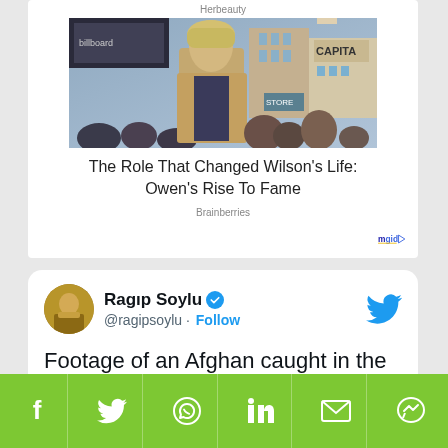Herbeauty
[Figure (photo): Man with blonde hair walking through a crowd in an urban setting]
The Role That Changed Wilson's Life: Owen's Rise To Fame
Brainberries
[Figure (logo): mgid logo with play button]
Ragip Soylu @ragipsoylu · Follow
Footage of an Afghan caught in the landing
[Figure (infographic): Social share bar with Facebook, Twitter, WhatsApp, LinkedIn, Email, and Messenger icons on green background]